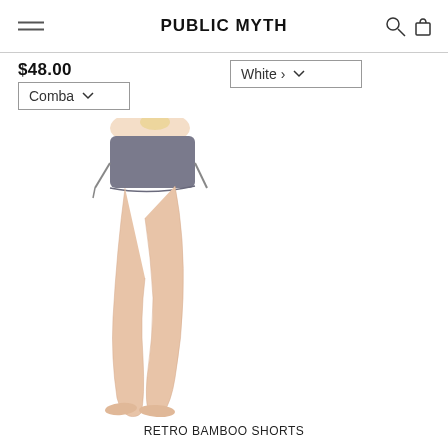PUBLIC MYTH
$48.00
Comba... ▾
White ... ▾
[Figure (photo): Side view of a model wearing gray Retro Bamboo Shorts with drawstring detail, showing legs from waist down, barefoot on white background.]
RETRO BAMBOO SHORTS
Qty: 1